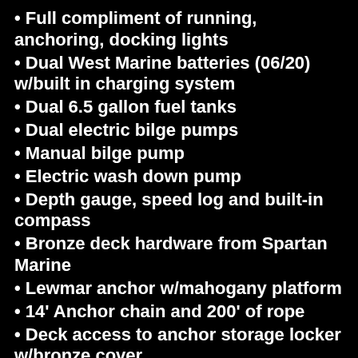Full compliment of running, anchoring, docking lights
Dual West Marine batteries (06/20) w/built in charging system
Dual 6.5 gallon fuel tanks
Dual electric bilge pumps
Manual bilge pump
Electric wash down pump
Depth gauge, speed log and built-in compass
Bronze deck hardware from Spartan Marine
Lewmar anchor w/mahogany platform
14' Anchor chain and 200' of rope
Deck access to anchor storage locker w/bronze cover
Telescoping boat hook and paddle